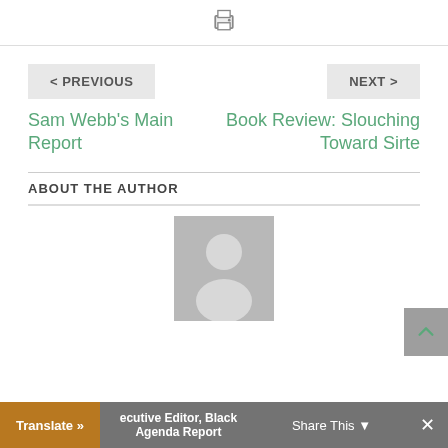[Figure (other): Print icon at top center of page]
< PREVIOUS
Sam Webb's Main Report
NEXT >
Book Review: Slouching Toward Sirte
ABOUT THE AUTHOR
[Figure (photo): Generic author avatar placeholder image — grey silhouette of a person on a light grey background]
Executive Editor, Black Agenda Report
Translate »
Share This
×